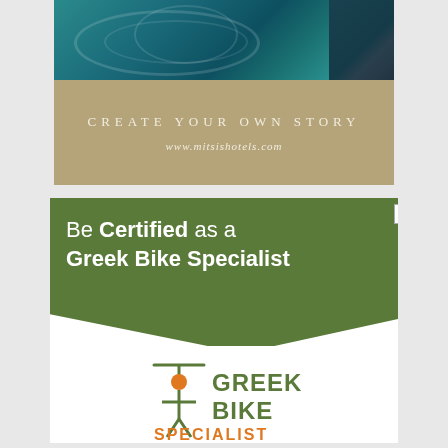[Figure (infographic): Top advertisement for mitsishotels.com: aerial photo of blue/teal water with dark rocks, below which is a tan/khaki background with spaced white text 'CREATE YOUR OWN STORY' and white URL 'www.mitsishotels.com']
[Figure (infographic): Advertisement for Greek Bike Specialist certification. Green angled background banner with white text 'Be Certified as a Greek Bike Specialist' and an X close button. Below: white background with Greek Bike Specialist logo — stylized person figure in olive green with orange circle head and orange bicycle handlebars/propeller above, next to large bold text 'GREEK BIKE' in olive green and 'SPECIALIST' in orange at the bottom.]